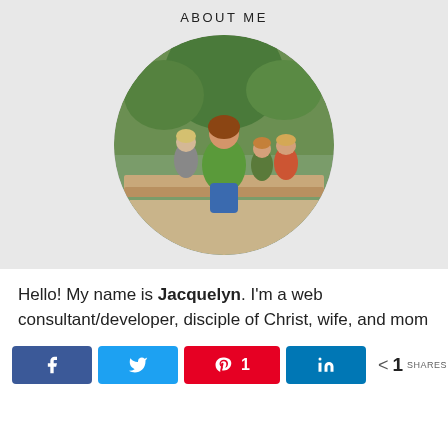ABOUT ME
[Figure (photo): Circular cropped photo of a woman (Jacquelyn) with red/brown hair and glasses, wearing a green shirt and jeans, sitting on a bench with three young boys, outdoors among palm trees and green shrubs.]
Hello! My name is Jacquelyn. I'm a web consultant/developer, disciple of Christ, wife, and mom
[Figure (infographic): Social share bar with Facebook, Twitter, Pinterest (showing count 1), LinkedIn buttons, and a share icon with count 1 and label SHARES]